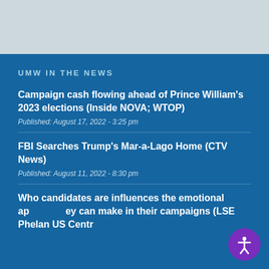[Figure (other): Gray banner image area at top of page]
UMW IN THE NEWS
Campaign cash flowing ahead of Prince William's 2023 elections (Inside NOVA; WTOP)
Published: August 17, 2022 - 3:25 pm
FBI Searches Trump's Mar-a-Lago Home (CTV News)
Published: August 11, 2022 - 8:30 pm
Who candidates are influences the emotional appeals they can make in their campaigns (LSE Phelan US Centre;